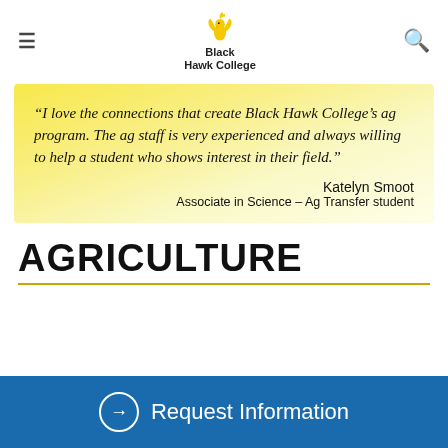[Figure (logo): Black Hawk College logo with golden hawk bird and text 'Black Hawk College']
“I love the connections that create Black Hawk College’s ag program. The ag staff is very experienced and always willing to help a student who shows interest in their field.”

Katelyn Smoot
Associate in Science – Ag Transfer student
AGRICULTURE
Request Information